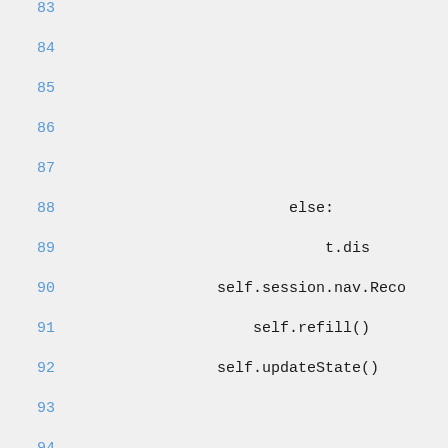83
84
85
86
87
88    else:
89
89        t.dis(truncated)
90    self.session.nav.Reco(truncated)
91        self.refill()
92    self.updateState()
93
94